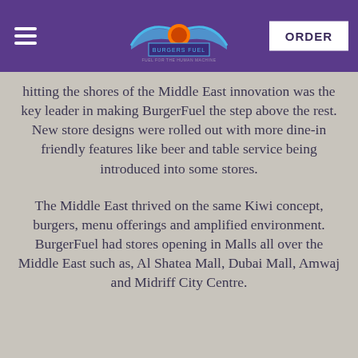BurgerFuel — ORDER
hitting the shores of the Middle East innovation was the key leader in making BurgerFuel the step above the rest. New store designs were rolled out with more dine-in friendly features like beer and table service being introduced into some stores.
The Middle East thrived on the same Kiwi concept, burgers, menu offerings and amplified environment. BurgerFuel had stores opening in Malls all over the Middle East such as, Al Shatea Mall, Dubai Mall, Amwaj and Midriff City Centre.